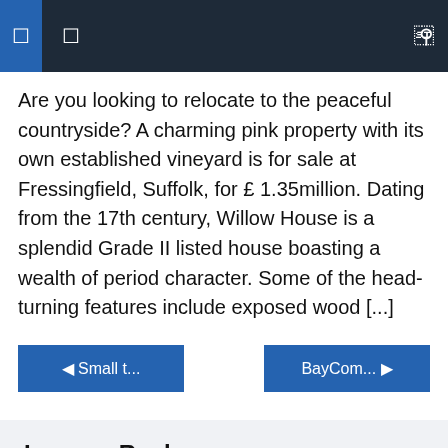Navigation bar with icons and search
Are you looking to relocate to the peaceful countryside? A charming pink property with its own established vineyard is for sale at Fressingfield, Suffolk, for £ 1.35million. Dating from the 17th century, Willow House is a splendid Grade II listed house boasting a wealth of period character. Some of the head-turning features include exposed wood [...]
◀ Small t...
BayCom... ▶
Leave a Reply
Your email address will not be published. Required fields are marked *
Comment *